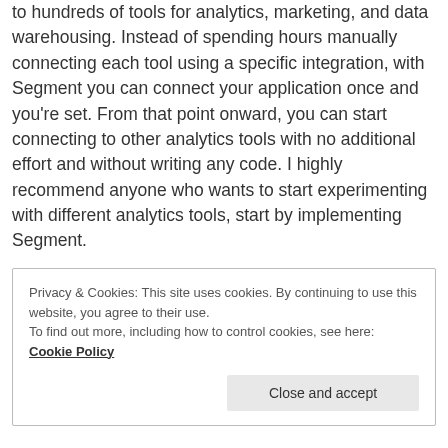to hundreds of tools for analytics, marketing, and data warehousing. Instead of spending hours manually connecting each tool using a specific integration, with Segment you can connect your application once and you're set. From that point onward, you can start connecting to other analytics tools with no additional effort and without writing any code. I highly recommend anyone who wants to start experimenting with different analytics tools, start by implementing Segment.
Privacy & Cookies: This site uses cookies. By continuing to use this website, you agree to their use. To find out more, including how to control cookies, see here: Cookie Policy
Close and accept